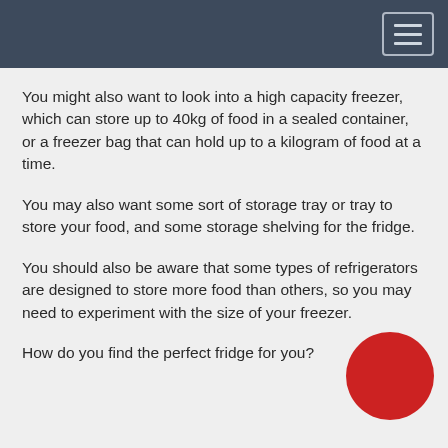You might also want to look into a high capacity freezer, which can store up to 40kg of food in a sealed container, or a freezer bag that can hold up to a kilogram of food at a time.
You may also want some sort of storage tray or tray to store your food, and some storage shelving for the fridge.
You should also be aware that some types of refrigerators are designed to store more food than others, so you may need to experiment with the size of your freezer.
How do you find the perfect fridge for you?